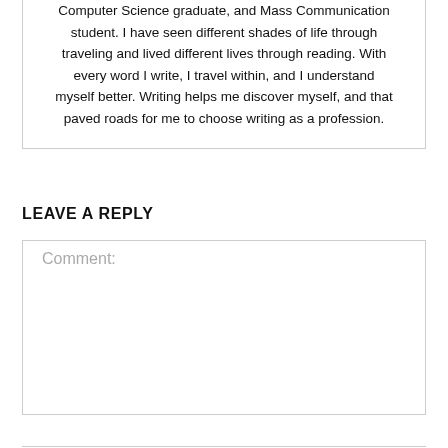Computer Science graduate, and Mass Communication student. I have seen different shades of life through traveling and lived different lives through reading. With every word I write, I travel within, and I understand myself better. Writing helps me discover myself, and that paved roads for me to choose writing as a profession.
LEAVE A REPLY
Comment: